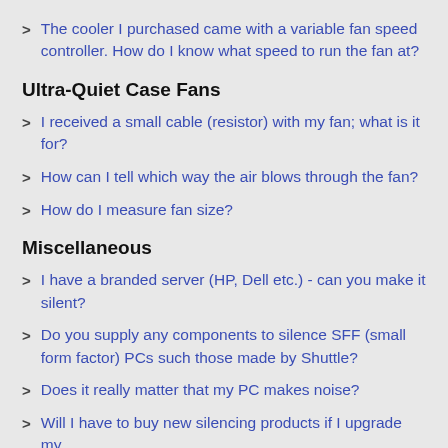The cooler I purchased came with a variable fan speed controller. How do I know what speed to run the fan at?
Ultra-Quiet Case Fans
I received a small cable (resistor) with my fan; what is it for?
How can I tell which way the air blows through the fan?
How do I measure fan size?
Miscellaneous
I have a branded server (HP, Dell etc.) - can you make it silent?
Do you supply any components to silence SFF (small form factor) PCs such those made by Shuttle?
Does it really matter that my PC makes noise?
Will I have to buy new silencing products if I upgrade my